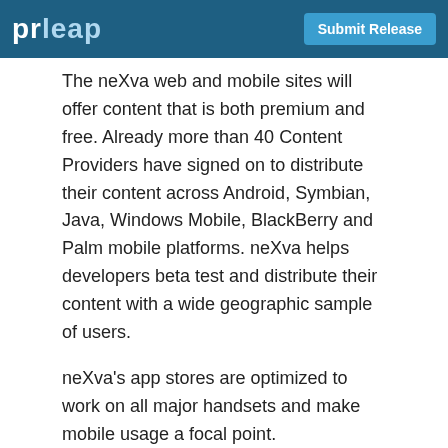prleap  Submit Release
The neXva web and mobile sites will offer content that is both premium and free. Already more than 40 Content Providers have signed on to distribute their content across Android, Symbian, Java, Windows Mobile, BlackBerry and Palm mobile platforms. neXva helps developers beta test and distribute their content with a wide geographic sample of users.
neXva's app stores are optimized to work on all major handsets and make mobile usage a focal point.
Shaun Zelber, founder and COO of neXva said "Most app stores work poorly on the mobile Internet. The expectation is that the user will search on the web and then 'side load' the content to their mobile device. In